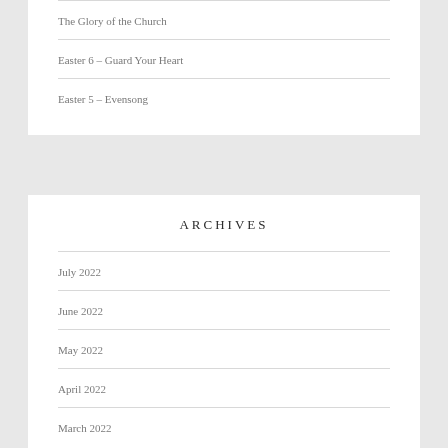The Glory of the Church
Easter 6 – Guard Your Heart
Easter 5 – Evensong
ARCHIVES
July 2022
June 2022
May 2022
April 2022
March 2022